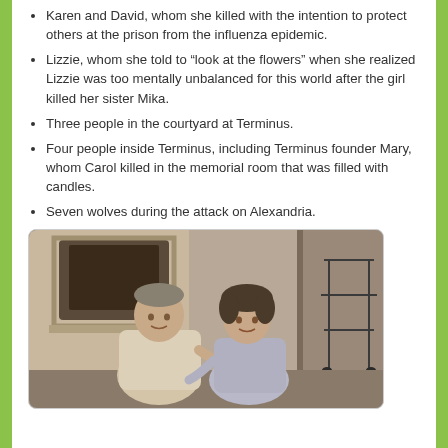Karen and David, whom she killed with the intention to protect others at the prison from the influenza epidemic.
Lizzie, whom she told to “look at the flowers” when she realized Lizzie was too mentally unbalanced for this world after the girl killed her sister Mika.
Three people in the courtyard at Terminus.
Four people inside Terminus, including Terminus founder Mary, whom Carol killed in the memorial room that was filled with candles.
Seven wolves during the attack on Alexandria.
[Figure (photo): Two people sitting together indoors; a man in a light t-shirt and a woman in a grey top, appearing to be in conversation in a rustic interior setting.]